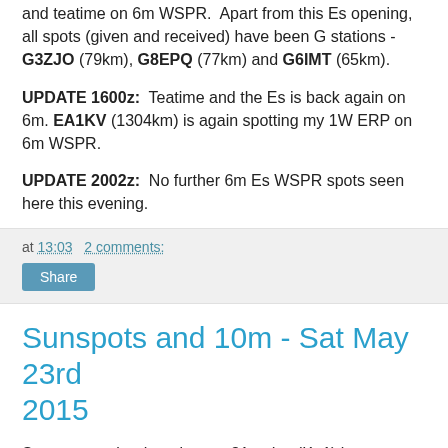and teatime on 6m WSPR.  Apart from this Es opening, all spots (given and received) have been G stations - G3ZJO (79km), G8EPQ (77km) and G6IMT (65km).
UPDATE 1600z: Teatime and the Es is back again on 6m. EA1KV (1304km) is again spotting my 1W ERP on 6m WSPR.
UPDATE 2002z: No further 6m Es WSPR spots seen here this evening.
at 13:03   2 comments:
Share
Sunspots and 10m - Sat May 23rd 2015
Sunspot number has risen to 81 today (K=1) but forecasts for 10m remain "poor".  It is too early really to judge here but